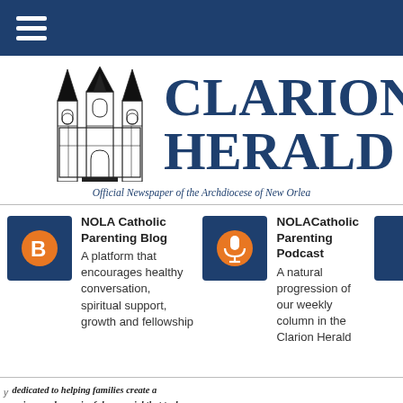Navigation bar with hamburger menu
[Figure (logo): Clarion Herald logo with cathedral illustration and text 'CLARION HERALD - Official Newspaper of the Archdiocese of New Orleans']
NOLA Catholic Parenting Blog
A platform that encourages healthy conversation, spiritual support, growth and fellowship
NOLACatholic Parenting Podcast
A natural progression of our weekly column in the Clarion Herald
dedicated to helping families create a unique and meaningful memorial that truly celebrates the life it represents.
A proud member of the Dignity Memorial® network
NEW ORLEANS
504-486-6331  LakeLawnMetairie.com
Celebrating and memori...